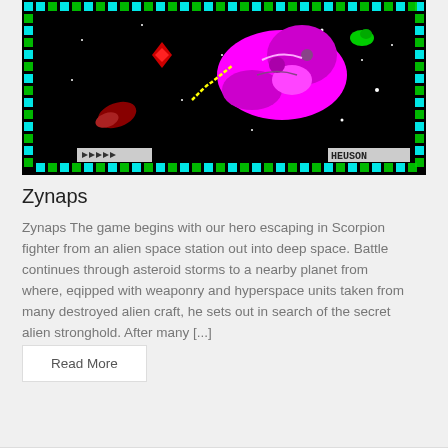[Figure (screenshot): ZX Spectrum game screenshot of Zynaps showing a space scene with a large magenta/pink alien ship, colorful border pattern in cyan/green/yellow, stars on black background, red diamond shape, yellow chain, small green alien, and HEUSON logo in bottom right. Play buttons visible bottom left.]
Zynaps
Zynaps The game begins with our hero escaping in Scorpion fighter from an alien space station out into deep space. Battle continues through asteroid storms to a nearby planet from where, eqipped with weaponry and hyperspace units taken from many destroyed alien craft, he sets out in search of the secret alien stronghold. After many [...]
Read More